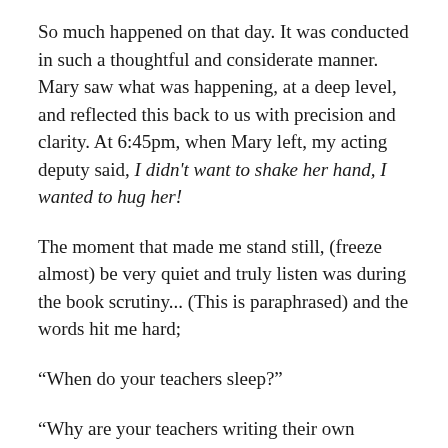So much happened on that day. It was conducted in such a thoughtful and considerate manner. Mary saw what was happening, at a deep level, and reflected this back to us with precision and clarity. At 6:45pm, when Mary left, my acting deputy said, I didn't want to shake her hand, I wanted to hug her!
The moment that made me stand still, (freeze almost) be very quiet and truly listen was during the book scrutiny... (This is paraphrased) and the words hit me hard;
“When do your teachers sleep?”
“Why are your teachers writing their own texts?”
“This could be linked more succinctly.”
Next, my governor came to take Mary to the